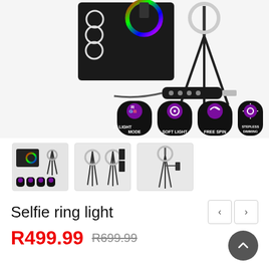[Figure (photo): Product photo of RGB selfie ring light with tripod stand and USB controller, plus four feature badges: 20 Light Mode, Soft Light, Free Spin, Stepless Dimming]
[Figure (photo): Three product thumbnail images showing the selfie ring light set from different angles]
Selfie ring light
R499.99  R699.99